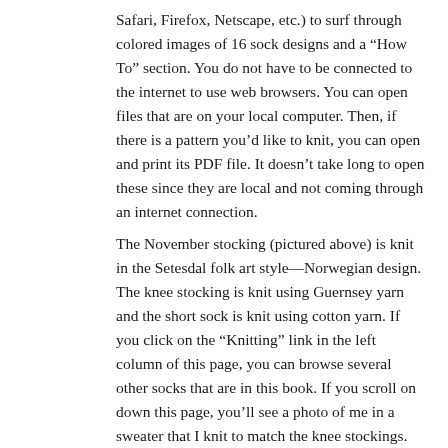Safari, Firefox, Netscape, etc.) to surf through colored images of 16 sock designs and a “How To” section. You do not have to be connected to the internet to use web browsers. You can open files that are on your local computer. Then, if there is a pattern you’d like to knit, you can open and print its PDF file. It doesn’t take long to open these since they are local and not coming through an internet connection.
The November stocking (pictured above) is knit in the Setesdal folk art style—Norwegian design. The knee stocking is knit using Guernsey yarn and the short sock is knit using cotton yarn. If you click on the “Knitting” link in the left column of this page, you can browse several other socks that are in this book. If you scroll on down this page, you’ll see a photo of me in a sweater that I knit to match the knee stockings.